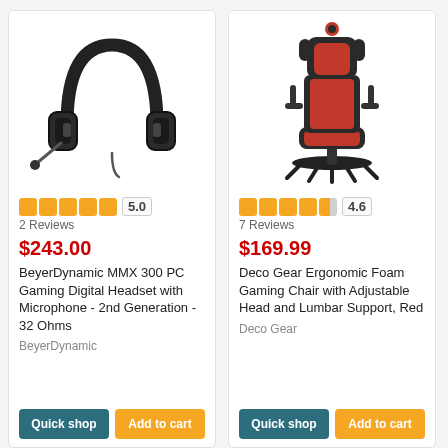[Figure (photo): BeyerDynamic MMX 300 PC Gaming Headset — black over-ear headphones with boom microphone]
5.0
2 Reviews
$243.00
BeyerDynamic MMX 300 PC Gaming Digital Headset with Microphone - 2nd Generation - 32 Ohms
BeyerDynamic
[Figure (photo): Deco Gear Ergonomic Foam Gaming Chair — black and red racing-style chair with adjustable armrests and lumbar support]
4.6
7 Reviews
$169.99
Deco Gear Ergonomic Foam Gaming Chair with Adjustable Head and Lumbar Support, Red
Deco Gear